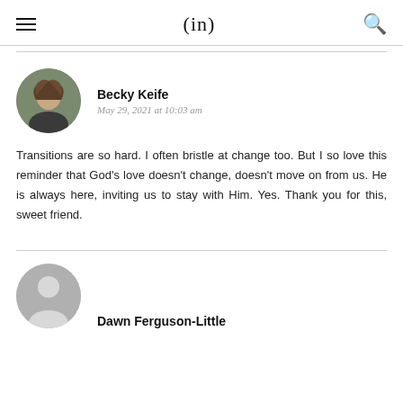(in)
Becky Keife
May 29, 2021 at 10:03 am
Transitions are so hard. I often bristle at change too. But I so love this reminder that God’s love doesn’t change, doesn’t move on from us. He is always here, inviting us to stay with Him. Yes. Thank you for this, sweet friend.
Dawn Ferguson-Little